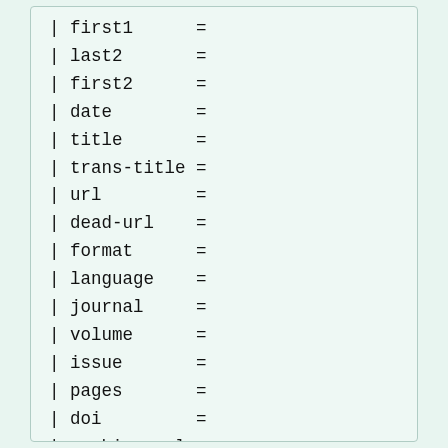| first1      =
| last2       =
| first2      =
| date        =
| title       =
| trans-title =
| url         =
| dead-url    =
| format      =
| language    =
| journal     =
| volume      =
| issue       =
| pages       =
| doi         =
| archive-url =
| archive-date =